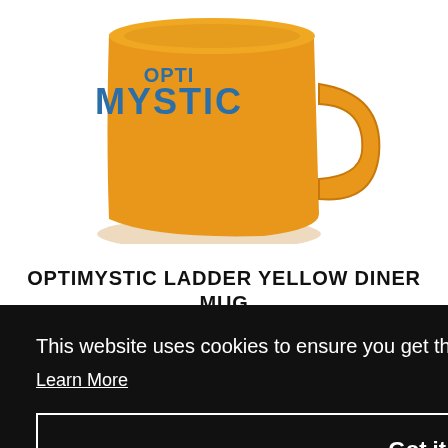[Figure (photo): Yellow ceramic diner mug with 'OPTIMYSTIC' text in teal/blue letters on the side, viewed slightly from above, with a handle on the right side.]
OPTIMYSTIC LADDER YELLOW DINER MUG
This website uses cookies to ensure you get the best experience on our website.
Learn More
Got it!